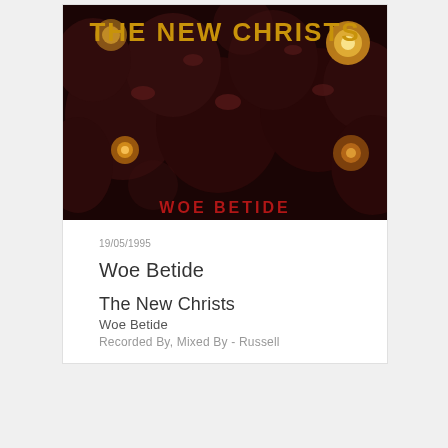[Figure (photo): Album cover for 'Woe Betide' by The New Christs. Dark image showing dark round shapes (heads) with glowing orange/yellow bokeh lights, and text 'THE NEW CHRISTS' in gold/yellow letters at the top and 'WOE BETIDE' in red letters at the bottom.]
19/05/1995
Woe Betide
The New Christs
Woe Betide
Recorded By, Mixed By - Russell